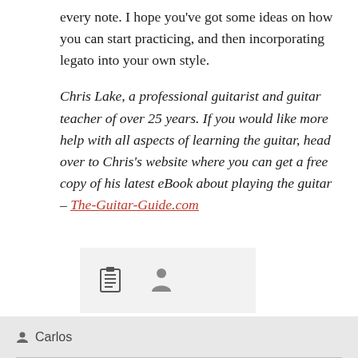every note. I hope you've got some ideas on how you can start practicing, and then incorporating legato into your own style.
Chris Lake, a professional guitarist and guitar teacher of over 25 years. If you would like more help with all aspects of learning the guitar, head over to Chris's website where you can get a free copy of his latest eBook about playing the guitar – The-Guitar-Guide.com
[Figure (other): Icon bar with a list/clipboard icon and a person/user icon on a light grey background]
Carlos